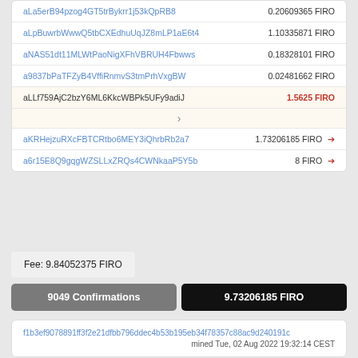| Address | Amount |
| --- | --- |
| aLa5erB94pzog4GT5trBykrr1j53kQpRB8 | 0.20609365 FIRO |
| aLpBuwrbWwwQ5tbCXEdhuUqJZ8mLP1aE6t4 | 1.10335871 FIRO |
| aNAS51dt11MLWtPaoNigXFhVBRUH4Fbwws | 0.18328101 FIRO |
| a9837bPaTFZyB4VffiRnmvS3tmPrhVxgBW | 0.02481662 FIRO |
| aLLf759AjC2bzY6ML6KkcWBPk5UFy9adiJ | 1.5625 FIRO |
| aKRHejzuRXcFBTCRtbo6MEY3iQhrbRb2a7 | 1.73206185 FIRO → |
| a6r15E8Q9gqgWZSLLxZRQs4CWNkaaP5Y5b | 8 FIRO → |
Fee: 9.84052375 FIRO
9049 Confirmations
9.73206185 FIRO
f1b3ef9078891ff3f2e21dfbb796ddec4b53b195eb34f78357c88ac9d240191c
mined Tue, 02 Aug 2022 19:32:14 CEST